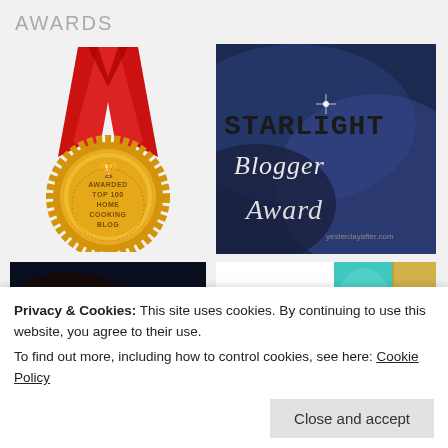AWARDS
[Figure (photo): Gold medal with red ribbon awarded for Top 100 Home Cooking Blog]
[Figure (photo): Starlight Blogger Award badge with blue cosmic background]
[Figure (photo): Dragon's Loyalty Award badge with dark fantasy background]
[Figure (photo): Infinity Dreams Award badge with teal and gold colors]
Privacy & Cookies: This site uses cookies. By continuing to use this website, you agree to their use.
To find out more, including how to control cookies, see here: Cookie Policy
Close and accept